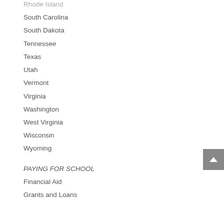Rhode Island
South Carolina
South Dakota
Tennessee
Texas
Utah
Vermont
Virginia
Washington
West Virginia
Wisconsin
Wyoming
PAYING FOR SCHOOL
Financial Aid
Grants and Loans